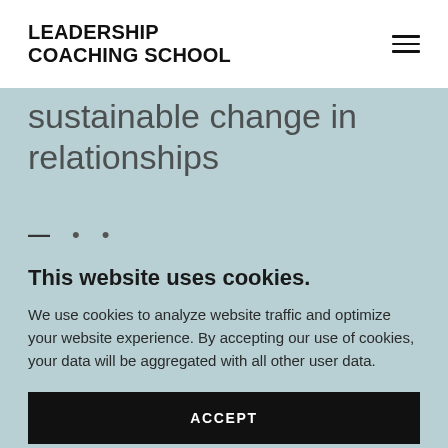LEADERSHIP COACHING SCHOOL
sustainable change in relationships
This website uses cookies.
We use cookies to analyze website traffic and optimize your website experience. By accepting our use of cookies, your data will be aggregated with all other user data.
ACCEPT